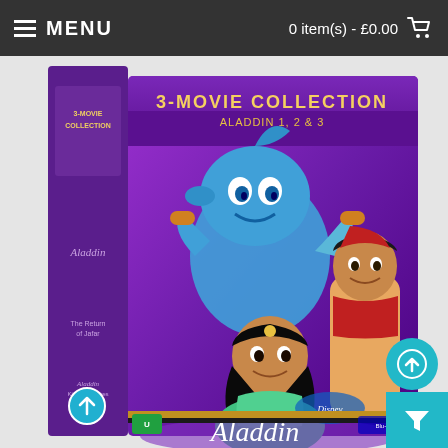≡ MENU   0 item(s) - £0.00 🛒
[Figure (photo): Disney Aladdin 3-Movie Collection DVD box set showing Genie, Aladdin, and Jasmine on a purple background. The box reads '3-MOVIE COLLECTION ALADDIN 1, 2 & 3' with the Disney Aladdin logo at the bottom.]